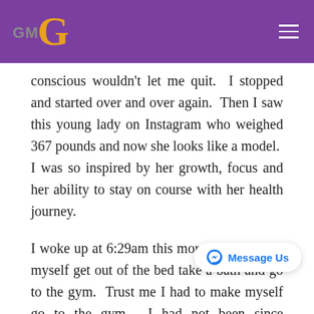GMG logo and navigation
conscious wouldn't let me quit.  I stopped and started over and over again.  Then I saw this young lady on Instagram who weighed 367 pounds and now she looks like a model.  I was so inspired by her growth, focus and her ability to stay on course with her health journey.
I woke up at 6:29am this morning and made myself get out of the bed take a bath and go to the gym.  Trust me I had to make myself go to the gym.  I had not been since January.  Once I got there it was pretty refreshing and I did a 45 minute workout.  I felt really accomplished after my workout.
Now I shared this story this morning, because I know